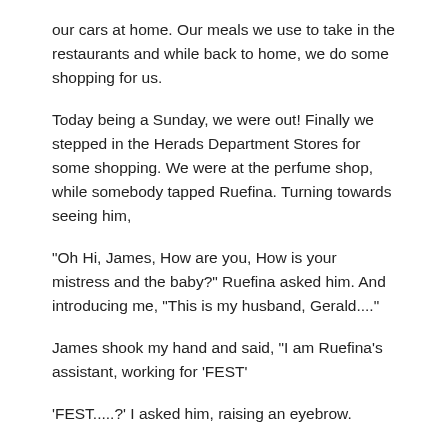our cars at home. Our meals we use to take in the restaurants and while back to home, we do some shopping for us.
Today being a Sunday, we were out! Finally we stepped in the Herads Department Stores for some shopping. We were at the perfume shop, while somebody tapped Ruefina. Turning towards seeing him,
"Oh Hi, James, How are you, How is your mistress and the baby?" Ruefina asked him. And introducing me, "This is my husband, Gerald...."
James shook my hand and said, "I am Ruefina's assistant, working for 'FEST'
'FEST.....?' I asked him, raising an eyebrow.
"Oh Gerald, that is our company, 'French Engineering and Science Technology" Ruefina interfered.